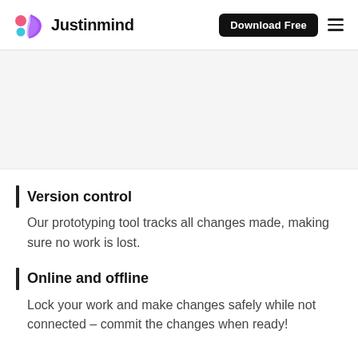Justinmind | Download Free
[Figure (logo): Justinmind logo with colorful icon (pink circle, blue circle, purple shape) and bold text 'Justinmind']
Version control
Our prototyping tool tracks all changes made, making sure no work is lost.
Online and offline
Lock your work and make changes safely while not connected – commit the changes when ready!